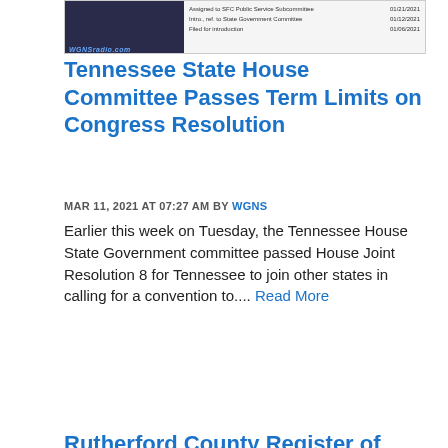[Figure (screenshot): Screenshot of a legislative tracking table showing dates and committee assignments for a bill, with WGNSradio.com watermark]
Tennessee State House Committee Passes Term Limits on Congress Resolution
MAR 11, 2021 AT 07:27 AM BY WGNS
Earlier this week on Tuesday, the Tennessee House State Government committee passed House Joint Resolution 8 for Tennessee to join other states in calling for a convention to.... Read More
[Figure (photo): Photo of an overgrown field/meadow with trees in background and a red banner reading YOUR LAND or HOME COULD BE STOLEN, with WGNSradio.com watermark]
Rutherford County Register of Deeds Recommends Registering on Free Land Alert Site to Lessen Risk of "Deed Theft"